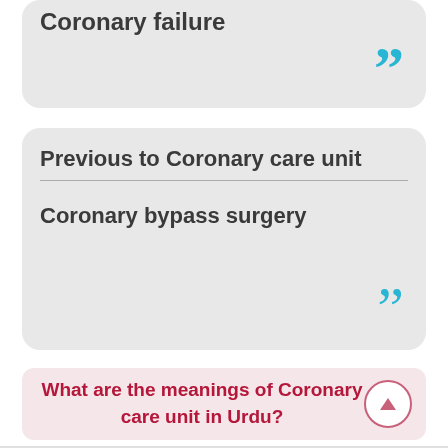Coronary failure
Previous to Coronary care unit
Coronary bypass surgery
What are the meanings of Coronary care unit in Urdu?